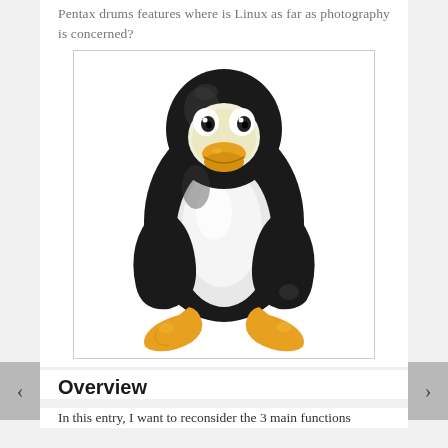Pentax drums features where is Linux as far as photography is concerned?
[Figure (illustration): Tux, the Linux penguin mascot, sitting with flippers out, white belly, orange beak and feet, black body]
Overview
In this entry, I want to reconsider the 3 main functions which are the fundamental pillars of the word?